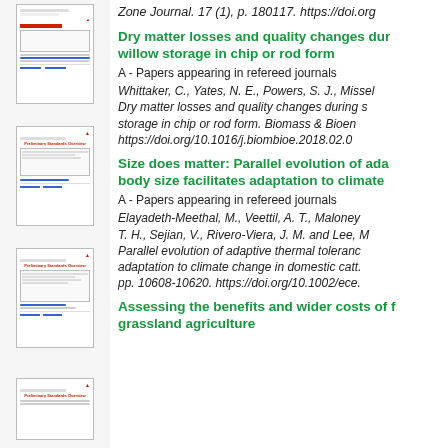Zone Journal. 17 (1), p. 180117. https://doi.org
Dry matter losses and quality changes during willow storage in chip or rod form
A - Papers appearing in refereed journals
Whittaker, C., Yates, N. E., Powers, S. J., Missel... Dry matter losses and quality changes during storage in chip or rod form. Biomass & Bioenergy. https://doi.org/10.1016/j.biombioe.2018.02.0...
Size does matter: Parallel evolution of adaptive body size facilitates adaptation to climate
A - Papers appearing in refereed journals
Elayadeth-Meethal, M., Veettil, A. T., Maloney, T. H., Sejian, V., Rivero-Viera, J. M. and Lee, M... Parallel evolution of adaptive thermal tolerance and adaptation to climate change in domestic cattle. pp. 10608-10620. https://doi.org/10.1002/ece...
Assessing the benefits and wider costs of f grassland agriculture